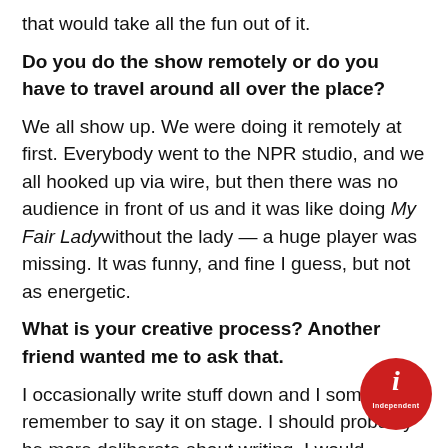that would take all the fun out of it.
Do you do the show remotely or do you have to travel around all over the place?
We all show up. We were doing it remotely at first. Everybody went to the NPR studio, and we all hooked up via wire, but then there was no audience in front of us and it was like doing My Fair Lady without the lady — a huge player was missing. It was funny, and fine I guess, but not as energetic.
What is your creative process? Another friend wanted me to ask that.
I occasionally write stuff down and I sometimes remember to say it on stage. I should probably be more deliberate about writing. I would probably be a stronger comic also, the part where I have the pen in my hand is the secretarial work, and when I was writing it was while I was
[Figure (logo): Independent magazine red circular logo with letter i]